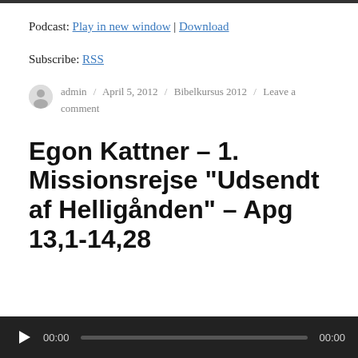Podcast: Play in new window | Download
Subscribe: RSS
admin / April 5, 2012 / Bibelkursus 2012 / Leave a comment
Egon Kattner – 1. Missionsrejse „Udsendt af Helligånden” – Apg 13,1-14,28
[Figure (other): Audio player bar with play button, time display 00:00, progress track, and end time 00:00]